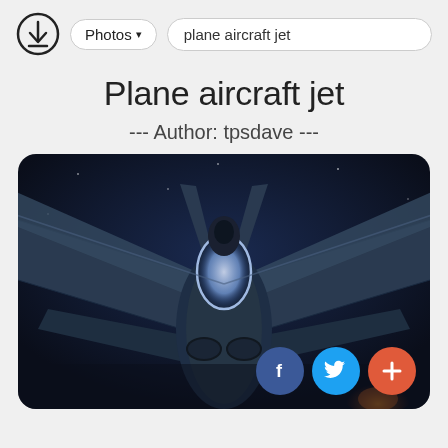Photos ▾  plane aircraft jet
Plane aircraft jet
--- Author: tpsdave ---
[Figure (photo): Front-on view of a military jet aircraft (likely an F/A-18) on a dark blue night sky background, illuminated cockpit canopy visible, wings swept back, engine intakes below. Social sharing buttons (Facebook, Twitter, plus) overlaid at bottom right.]